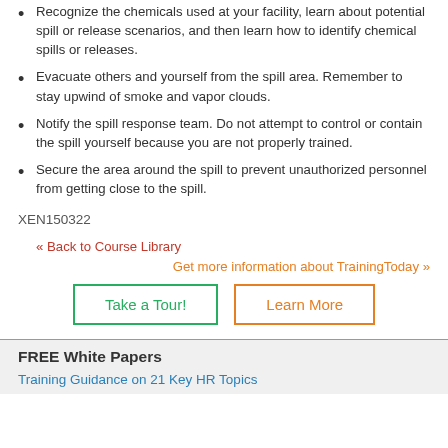Recognize the chemicals used at your facility, learn about potential spill or release scenarios, and then learn how to identify chemical spills or releases.
Evacuate others and yourself from the spill area. Remember to stay upwind of smoke and vapor clouds.
Notify the spill response team. Do not attempt to control or contain the spill yourself because you are not properly trained.
Secure the area around the spill to prevent unauthorized personnel from getting close to the spill.
XEN150322
« Back to Course Library
Get more information about TrainingToday »
Take a Tour!
Learn More
FREE White Papers
Training Guidance on 21 Key HR Topics